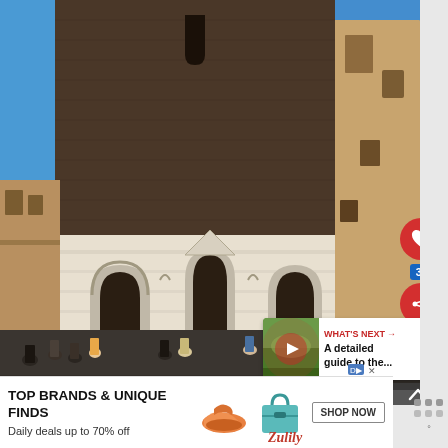[Figure (photo): Outdoor photo of a large Italian Gothic church (Basilica di San Petronio, Bologna) with ornate white marble lower facade and dark brick upper section. Blue sky visible. A crowd of tourists fills the piazza in front of the church.]
[Figure (screenshot): UI overlay showing a red heart button, a blue share count badge showing 3.2K, and a red share button with a share icon, positioned on the right side of the photo.]
[Figure (screenshot): A 'What's Next' thumbnail card in the lower right area showing a small landscape thumbnail with text 'WHAT'S NEXT → A detailed guide to the...']
[Figure (screenshot): Advertisement banner at the bottom: 'TOP BRANDS & UNIQUE FINDS / Daily deals up to 70% off' with shoe and bag illustrations, SHOP NOW button, and Zulily branding.]